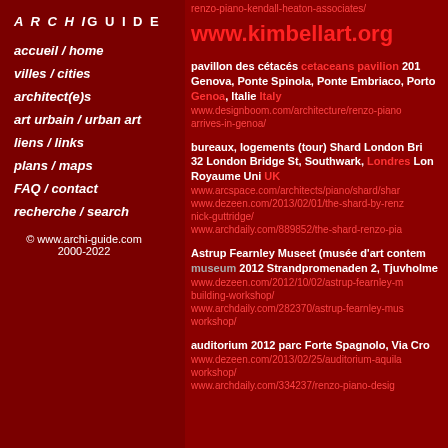ARCHIGUIDE
accueil / home
villes / cities
architect(e)s
art urbain / urban art
liens / links
plans / maps
FAQ / contact
recherche / search
© www.archi-guide.com 2000-2022
renzo-piano-kendall-heaton-associates/
www.kimbellart.org
pavillon des cétacés cetaceans pavilion 2013 Genova, Ponte Spinola, Ponte Embriaco, Porto Genoa, Italie Italy www.designboom.com/architecture/renzo-piano arrives-in-genoa/
bureaux, logements (tour) Shard London Bridge 32 London Bridge St, Southwark, Londres London, Royaume Uni UK www.arcspace.com/architects/piano/shard/shard www.dezeen.com/2013/02/01/the-shard-by-renzo nick-guttridge/ www.archdaily.com/889852/the-shard-renzo-piano
Astrup Fearnley Museet (musée d'art contemporain) museum 2012 Strandpromenaden 2, Tjuvholmen www.dezeen.com/2012/10/02/astrup-fearnley-museum building-workshop/ www.archdaily.com/282370/astrup-fearnley-museet workshop/
auditorium 2012 parc Forte Spagnolo, Via Croce www.dezeen.com/2013/02/25/auditorium-aquila workshop/ www.archdaily.com/334237/renzo-piano-design